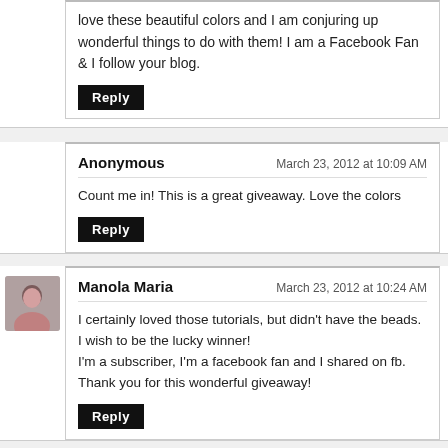love these beautiful colors and I am conjuring up wonderful things to do with them! I am a Facebook Fan & I follow your blog.
Reply
Anonymous
March 23, 2012 at 10:09 AM
Count me in! This is a great giveaway. Love the colors
Reply
Manola Maria
March 23, 2012 at 10:24 AM
I certainly loved those tutorials, but didn't have the beads. I wish to be the lucky winner!
I'm a subscriber, I'm a facebook fan and I shared on fb.
Thank you for this wonderful giveaway!
Reply
Debbie
March 23, 2012 at 10:57 AM
More beads....who wouldn't like to win this one??? Really it's